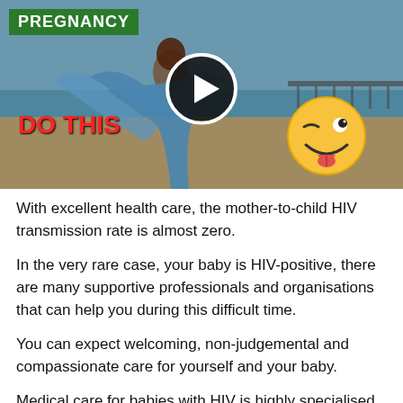[Figure (screenshot): Video thumbnail showing a woman in a blue dress on a beach, with a green 'PREGNANCY' label in the top left, a red 'DO THIS' text overlay, a play button circle in the center, and a winking emoji in the bottom right.]
With excellent health care, the mother-to-child HIV transmission rate is almost zero.
In the very rare case, your baby is HIV-positive, there are many supportive professionals and organisations that can help you during this difficult time.
You can expect welcoming, non-judgemental and compassionate care for yourself and your baby.
Medical care for babies with HIV is highly specialised. Early diagnosis means that a baby can begin effective treatment